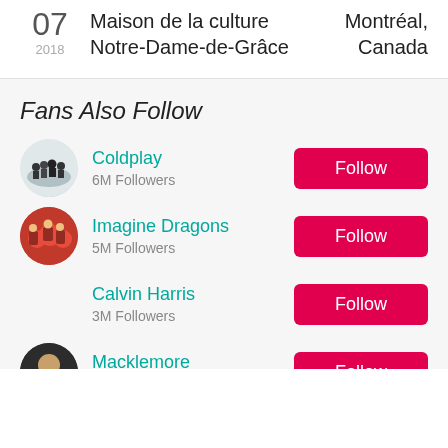07 2018 Maison de la culture Notre-Dame-de-Grâce Montreal, Canada
Fans Also Follow
Coldplay 6M Followers
Imagine Dragons 5M Followers
Calvin Harris 3M Followers
Macklemore 3M Followers
David Guetta 4M Followers
Maroon 5